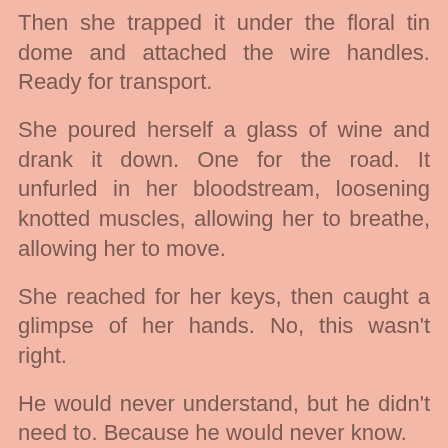Then she trapped it under the floral tin dome and attached the wire handles. Ready for transport.
She poured herself a glass of wine and drank it down. One for the road. It unfurled in her bloodstream, loosening knotted muscles, allowing her to breathe, allowing her to move.
She reached for her keys, then caught a glimpse of her hands. No, this wasn't right.
He would never understand, but he didn't need to. Because he would never know.
She made the necessary adjustments